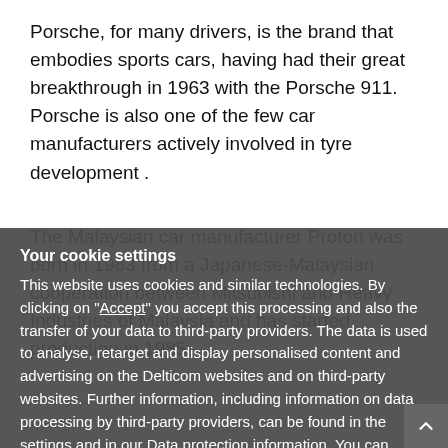Porsche, for many drivers, is the brand that embodies sports cars, having had their great breakthrough in 1963 with the Porsche 911. Porsche is also one of the few car manufacturers actively involved in tyre development .
The Malaysian car manufacturer Proton was born in 1983 from a Japanese-Malaysian cooperation between Mitsubishi and Heavy Industries of Malaysia and has started production in 1985.
R... [partially obscured text behind cookie overlay]
Re...ands. With its cu... the perfect ve... [partially obscured]
As, traditionally, english brand, the Rolls-Royce has long time been the embodiment of luxury limousines. Particularly the radiator mascot, the trademark Spirit of Ecstasy, hig... Rolls-Royce cl... [partially obscured]
[Figure (screenshot): Cookie consent overlay dialog on a dark grey semi-transparent background with title 'Your cookie settings', body text about cookies and data processing, links to 'Accept', 'Data protection information', 'decline', 'Settings', and an Accept button. A scroll-to-top button appears in the bottom right corner.]